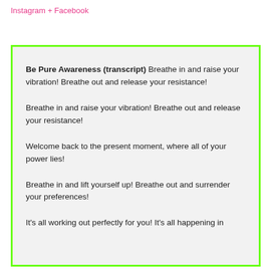Instagram + Facebook
Be Pure Awareness (transcript) Breathe in and raise your vibration! Breathe out and release your resistance!

Breathe in and raise your vibration! Breathe out and release your resistance!

Welcome back to the present moment, where all of your power lies!

Breathe in and lift yourself up! Breathe out and surrender your preferences!

It’s all working out perfectly for you! It’s all happening in